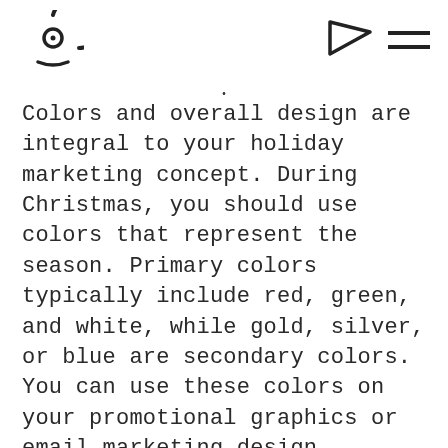[Logo icon] [Flag/tab icon] [Hamburger menu icon]
Colors and overall design are integral to your holiday marketing concept. During Christmas, you should use colors that represent the season. Primary colors typically include red, green, and white, while gold, silver, or blue are secondary colors. You can use these colors on your promotional graphics or email marketing design.
The holidays are a feel-good season often associated with family, happiness, and giving. Therefore, this is an excellent opportunity to incorporate an emotional element into your holiday campaigns. Color psychology, music, and branding are critical components that will build an emotional connection with